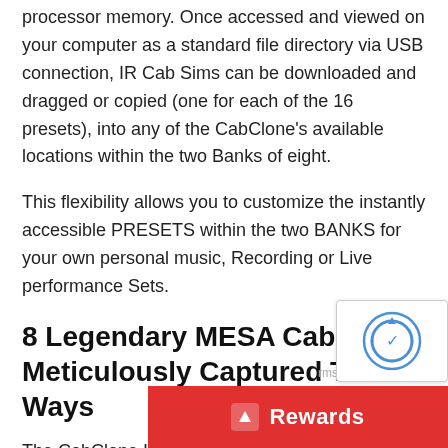processor memory. Once accessed and viewed on your computer as a standard file directory via USB connection, IR Cab Sims can be downloaded and dragged or copied (one for each of the 16 presets), into any of the CabClone's available locations within the two Banks of eight.
This flexibility allows you to customize the instantly accessible PRESETS within the two BANKS for your own personal music, Recording or Live performance Sets.
8 Legendary MESA Cabs, Meticulously Captured Two Ways
The CabClone IR comes with 16 MESA Proprietary Cabinet Impulse Responses loaded into two banks of 8 Presets. BANK A contains our “LIVE” IRs, recorded with Dynamic and Ribbon Microphones. BANK B contains our “STUDIO” recorded with Condenser and Ribbon micr… same eight most popular MESA cabinets, a…
[Figure (other): reCAPTCHA widget overlay in bottom right corner]
[Figure (other): Red Rewards button bar overlay at bottom right]